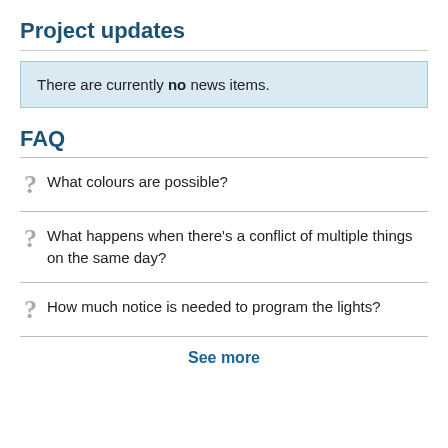Project updates
There are currently no news items.
FAQ
What colours are possible?
What happens when there's a conflict of multiple things on the same day?
How much notice is needed to program the lights?
See more